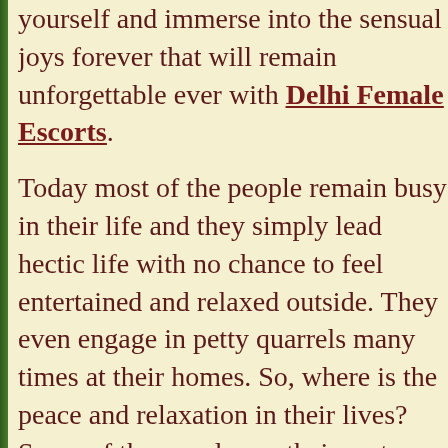yourself and immerse into the sensual joys forever that will remain unforgettable ever with Delhi Female Escorts. Today most of the people remain busy in their life and they simply lead hectic life with no chance to feel entertained and relaxed outside. They even engage in petty quarrels many times at their homes. So, where is the peace and relaxation in their lives? Some of the people say their partners not responding them as per their needs. Hence, if you are in need of such relaxation, it is definitely challenging to get one.